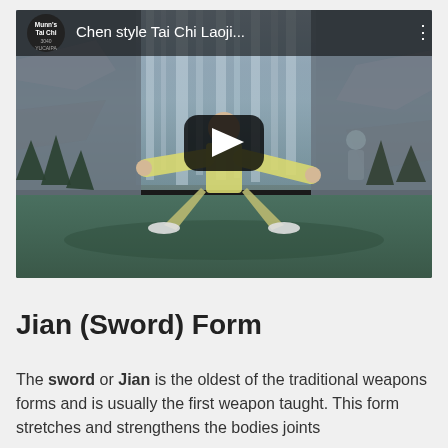[Figure (screenshot): YouTube video thumbnail showing a man in white traditional martial arts clothing performing a Tai Chi pose (wide stance with arms extended) in front of a waterfall background. The video title reads 'Chen style Tai Chi Laoji...' with the channel name 'Munn's Tai Chi'. A large play button is overlaid in the center.]
Jian (Sword) Form
The sword or Jian is the oldest of the traditional weapons forms and is usually the first weapon taught. This form stretches and strengthens the bodies joints